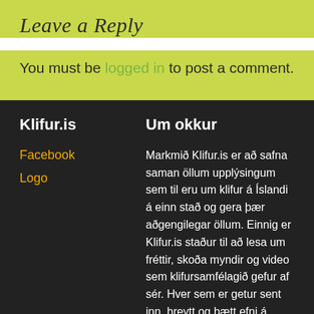Leave a Reply
You must be logged in to post a comment.
Klifur.is
Um okkur
Facebook
Logo
Markmið Klifur.is er að safna saman öllum upplýsingum sem til eru um klifur á Íslandi á einn stað og gera þær aðgengilegar öllum. Einnig er Klifur.is staður til að lesa um fréttir, skoða myndir og video sem klifursamfélagið gefur af sér. Hver sem er getur sent inn, breytt og bætt efni á Klifur.is.
Contact